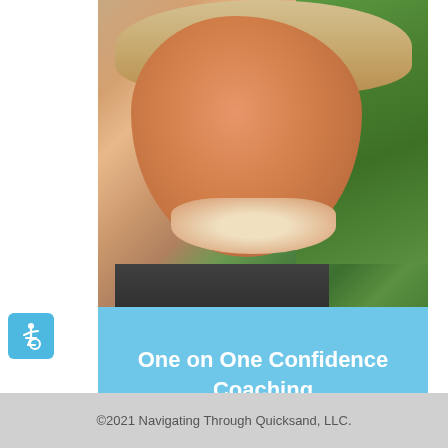[Figure (photo): Smiling blonde woman outdoors, close-up selfie with grass background, wearing black top]
One on One Confidence Coaching
[Figure (illustration): Accessibility wheelchair icon in white on light blue rounded square background]
©2021 Navigating Through Quicksand, LLC.